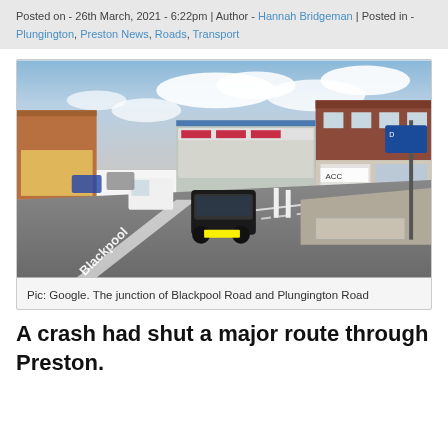Posted on - 26th March, 2021 - 6:22pm | Author - Hannah Bridgeman | Posted in - Plungington, Preston News, Roads, Transport
[Figure (photo): Street-level Google photo showing the junction of Blackpool Road and Plungington Road in Preston, with shops, road markings and vehicles visible.]
Pic: Google. The junction of Blackpool Road and Plungington Road
A crash had shut a major route through Preston.